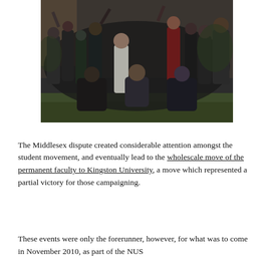[Figure (photo): A group photo of many students and people gathered outdoors on a lawn in front of a brick building, appearing celebratory or at a protest/campaign event.]
The Middlesex dispute created considerable attention amongst the student movement, and eventually lead to the wholescale move of the permanent faculty to Kingston University, a move which represented a partial victory for those campaigning.
These events were only the forerunner, however, for what was to come in November 2010, as part of the NUS